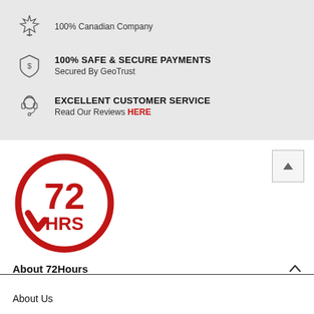100% Canadian Company
100% SAFE & SECURE PAYMENTS
Secured By GeoTrust
EXCELLENT CUSTOMER SERVICE
Read Our Reviews HERE
[Figure (logo): 72 Hours circular logo with arrow and text '72 HRS' in red]
About 72Hours
About Us